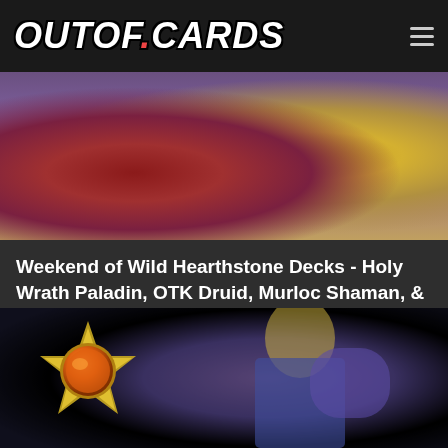OUTOF.CARDS
[Figure (screenshot): Hearthstone artwork showing two fantasy characters - a red-robed figure in chains on the left and a golden armored figure on the right, against a purple and sandy background]
Weekend of Wild Hearthstone Decks - Holy Wrath Paladin, OTK Druid, Murloc Shaman, & More
3 hours ago by FrostyFeet  0
[Figure (screenshot): Hearthstone artwork showing a star-shaped medal/coin with an orange gem center on the left, and a blonde male character in purple and blue robes reaching out his hand on the right]